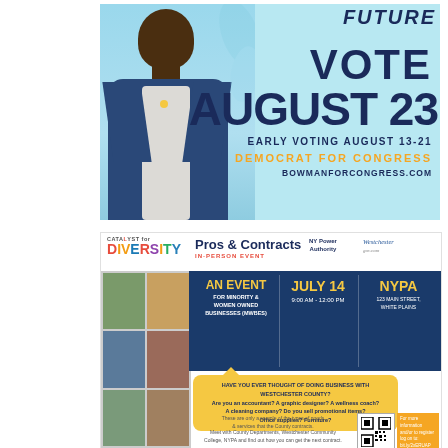[Figure (infographic): Campaign flyer for Bowman for Congress showing a man in a blue suit jacket against a light blue background with decorative leaf design. Text reads: FUTURE, VOTE, AUGUST 23, EARLY VOTING AUGUST 13-21, DEMOCRAT FOR CONGRESS, BOWMANFORCONGRESS.COM]
[Figure (infographic): Catalyst for Diversity event flyer: Pros & Contracts In-Person Event for Minority & Women Owned Businesses (MWBEs). July 14, 9:00 AM - 12:00 PM at NYPA, 123 Main Street, White Plains. Sponsored by NY Power Authority and Westchester County. Yellow speech bubble asking if viewer has thought of doing business with Westchester County listing various professions. QR code included.]